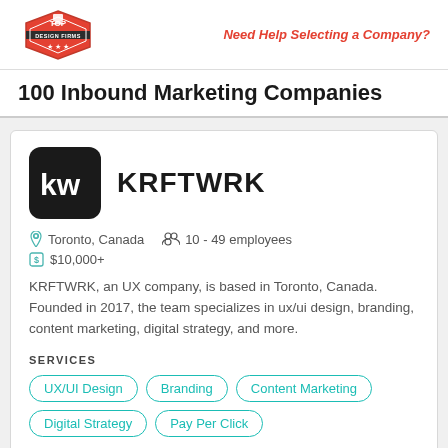Top Design Firms | Need Help Selecting a Company?
100 Inbound Marketing Companies
[Figure (logo): KRFTWRK company logo — black rounded square with white 'KW' letters]
KRFTWRK
Toronto, Canada   10 - 49 employees
$10,000+
KRFTWRK, an UX company, is based in Toronto, Canada. Founded in 2017, the team specializes in ux/ui design, branding, content marketing, digital strategy, and more.
SERVICES
UX/UI Design
Branding
Content Marketing
Digital Strategy
Pay Per Click